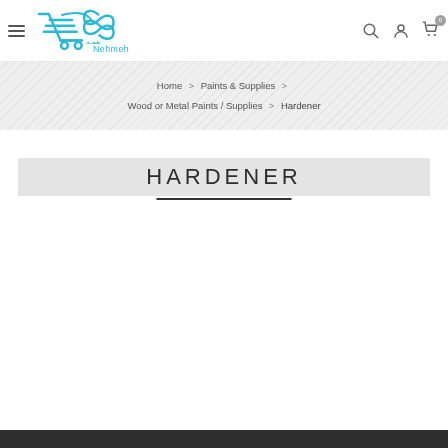Nehmeh online store header with logo, navigation icons (search, account, cart with 0 items)
Home > Paints & Supplies > Wood or Metal Paints / Supplies > Hardener
HARDENER